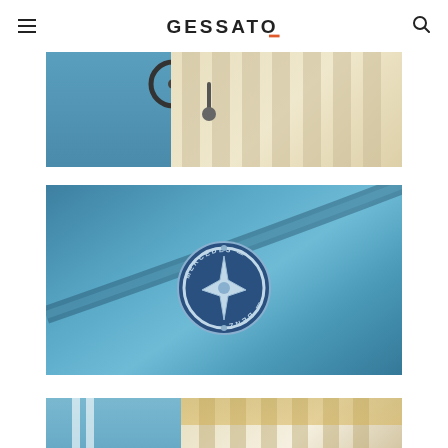GESSATO
[Figure (photo): Close-up of a classic Mercedes-Benz convertible interior showing the steering wheel, blue door panel, and cream/beige leather seats from above]
[Figure (photo): Close-up of a blue Mercedes-Benz hood/bonnet showing the circular Mercedes-Benz star logo badge in chrome and blue]
[Figure (photo): Close-up of a classic Mercedes-Benz convertible exterior showing blue bodywork with white stripe and cream leather interior seats]